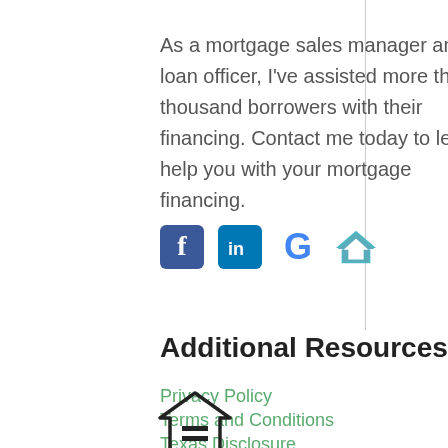As a mortgage sales manager and loan officer, I've assisted more than a thousand borrowers with their financing. Contact me today to let me help you with your mortgage financing.
[Figure (other): Social media icons: Facebook, LinkedIn, Google, Zillow]
Additional Resources
Privacy Policy
Terms and Conditions
Texas Disclosure
[Figure (logo): Equal housing opportunity logo — house with equal sign inside]